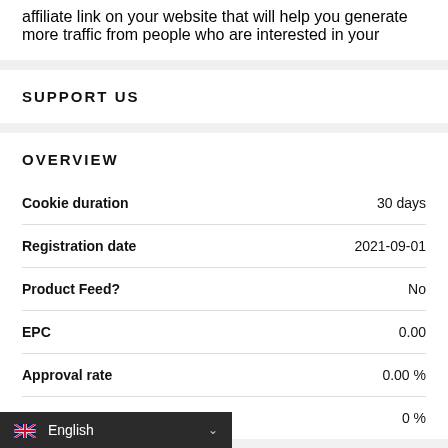affiliate link on your website that will help you generate more traffic from people who are interested in your
SUPPORT US
OVERVIEW
|  |  |
| --- | --- |
| Cookie duration | 30 days |
| Registration date | 2021-09-01 |
| Product Feed? | No |
| EPC | 0.00 |
| Approval rate | 0.00 % |
| Commission amount | 0 % |